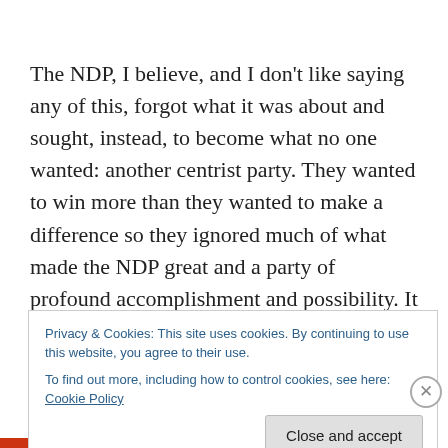The NDP, I believe, and I don't like saying any of this, forgot what it was about and sought, instead, to become what no one wanted: another centrist party. They wanted to win more than they wanted to make a difference so they ignored much of what made the NDP great and a party of profound accomplishment and possibility. It had dropped the ball and became irrelevant in doing so. Trudeau and the Liberals were ready and willing to risk. That they were
Privacy & Cookies: This site uses cookies. By continuing to use this website, you agree to their use.
To find out more, including how to control cookies, see here: Cookie Policy